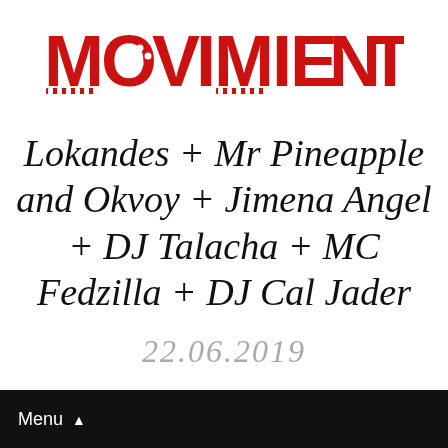[Figure (logo): Movimientos logo in bold red uppercase letters with decorative elements on letters O and S]
Lokandes + Mr Pineapple and Okvoy + Jimena Angel + DJ Talacha + MC Fedzilla + DJ Cal Jader
22.06.2019
Menu ▲